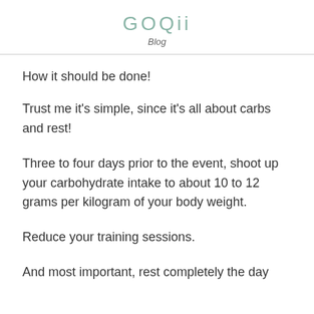GOQii
Blog
How it should be done!
Trust me it’s simple, since it’s all about carbs and rest!
Three to four days prior to the event, shoot up your carbohydrate intake to about 10 to 12 grams per kilogram of your body weight.
Reduce your training sessions.
And most important, rest completely the day